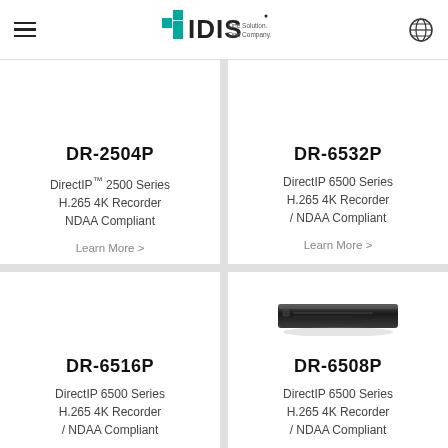IDIS — One Solution. One Company.
DR-2504P
DirectIP™ 2500 Series H.265 4K Recorder NDAA Compliant
Learn More >
DR-6532P
DirectIP 6500 Series H.265 4K Recorder / NDAA Compliant
Learn More >
[Figure (photo): Black rack-mount DVR unit for DR-6508P]
DR-6516P
DirectIP 6500 Series H.265 4K Recorder / NDAA Compliant
DR-6508P
DirectIP 6500 Series H.265 4K Recorder / NDAA Compliant